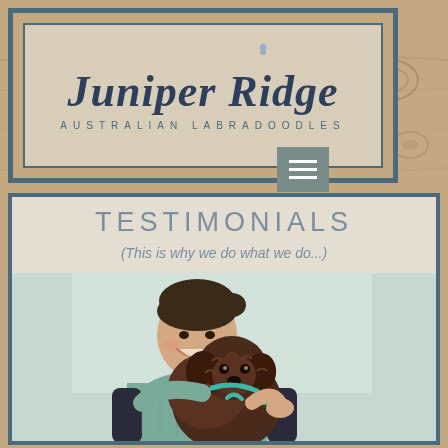[Figure (logo): Juniper Ridge Australian Labradoodles logo — handwritten script text 'Juniper Ridge' with 'AUSTRALIAN LABRADOODLES' subtitle, inside a double rectangular border on a wood-grain background]
TESTIMONIALS
(This is why we do what we do...)
[Figure (photo): Woman smiling and holding a dark brown/chocolate curly-haired Labradoodle puppy with a teal/turquoise harness. Woman is wearing a teal puffer vest. Background appears light/grey.]